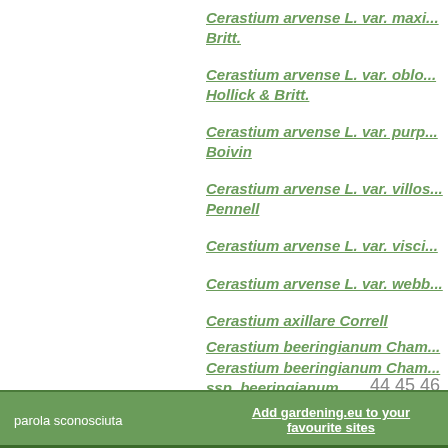Cerastium arvense L. var. maxi... Britt.
Cerastium arvense L. var. oblo... Hollick & Britt.
Cerastium arvense L. var. purp... Boivin
Cerastium arvense L. var. villos... Pennell
Cerastium arvense L. var. visci...
Cerastium arvense L. var. webb...
Cerastium axillare Correll
Cerastium beeringianum Cham...
Cerastium beeringianum Cham... ssp. beeringianum
44 45 46
parola sconosciuta   Add gardening.eu to your favourite sites